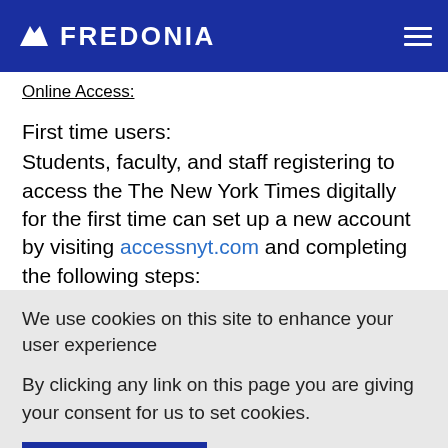FREDONIA
Online Access:
First time users:
Students, faculty, and staff registering to access the The New York Times digitally for the first time can set up a new account by visiting accessnyt.com and completing the following steps:
We use cookies on this site to enhance your user experience
By clicking any link on this page you are giving your consent for us to set cookies.
OK, I AGREE